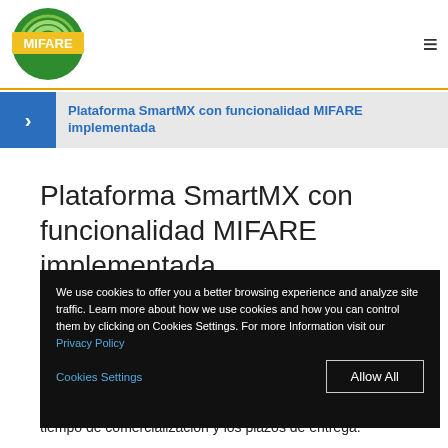MIFARE [logo] [hamburger menu]
Plataforma SmartMX con funcionalidad MIFARE implementada
Plataforma SmartMX con funcionalidad MIFARE implementada
[Figure (screenshot): Cookie consent overlay on dark background with text: We use cookies to offer you a better browsing experience and analyze site traffic. Learn more about how we use cookies and how you can control them by clicking on Cookies Settings. For more Information visit our Privacy Policy. Buttons: Cookies Settings and Allow All.]
tiempo de comercialización y los plazos de entrega.